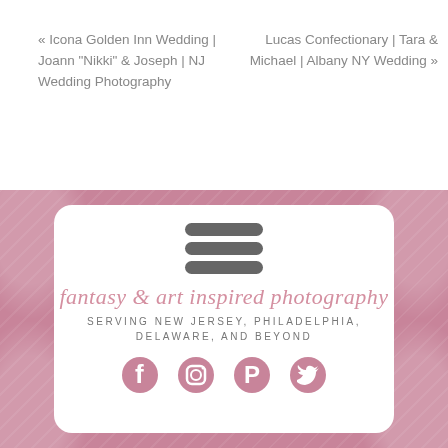« Icona Golden Inn Wedding | Joann "Nikki" & Joseph | NJ Wedding Photography
Lucas Confectionary | Tara & Michael | Albany NY Wedding »
[Figure (logo): Fantasy & Art Inspired Photography website footer/sidebar widget with hamburger menu icon, script logo text reading 'fantasy & art inspired photography', tagline 'SERVING NEW JERSEY, PHILADELPHIA, DELAWARE, AND BEYOND', and social media icons for Facebook, Instagram, Pinterest, and Twitter on a pink damask background]